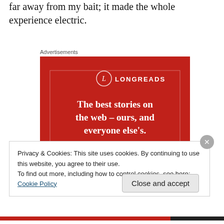far away from my bait; it made the whole experience electric.
Advertisements
[Figure (illustration): Longreads advertisement: red background with Longreads logo (circle with L), tagline 'The best stories on the web – ours, and everyone else's.', and a black 'Start reading' button.]
Privacy & Cookies: This site uses cookies. By continuing to use this website, you agree to their use.
To find out more, including how to control cookies, see here: Cookie Policy
Close and accept